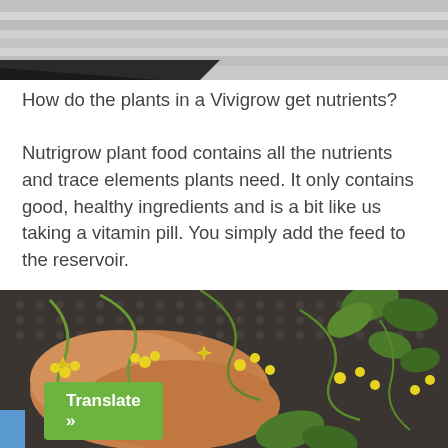[Figure (photo): Top portion of a photo showing a rooftop or greenhouse structure with a corrugated or ribbed surface, partially cut off at the top of the page.]
How do the plants in a Vivigrow get nutrients?
Nutrigrow plant food contains all the nutrients and trace elements plants need. It only contains good, healthy ingredients and is a bit like us taking a vitamin pill. You simply add the feed to the reservoir.
[Figure (photo): A hand holding a tomato plant stem with many small yellow flowers and green leaves, against a dark textured background (appears to be a growing container or mat).]
Translate »